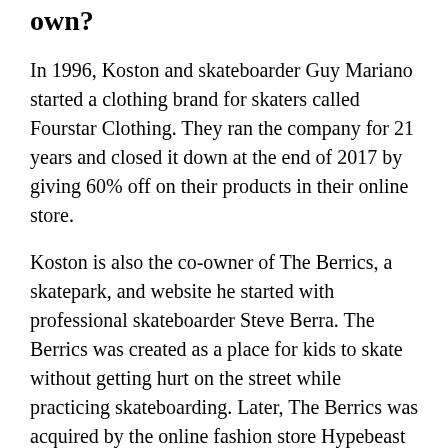own?
In 1996, Koston and skateboarder Guy Mariano started a clothing brand for skaters called Fourstar Clothing. They ran the company for 21 years and closed it down at the end of 2017 by giving 60% off on their products in their online store.
Koston is also the co-owner of The Berrics, a skatepark, and website he started with professional skateboarder Steve Berra. The Berrics was created as a place for kids to skate without getting hurt on the street while practicing skateboarding. Later, The Berrics was acquired by the online fashion store Hypebeast and renamed it The Berrics Company